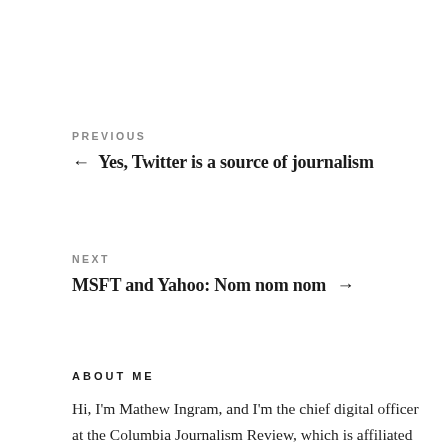PREVIOUS
← Yes, Twitter is a source of journalism
NEXT
MSFT and Yahoo: Nom nom nom →
ABOUT ME
Hi, I'm Mathew Ingram, and I'm the chief digital officer at the Columbia Journalism Review, which is affiliated with Columbia University in New York. However, I live and work near Toronto. I used to write for Fortune magazine, and before that for the Globe and Mail newspaper. Feel